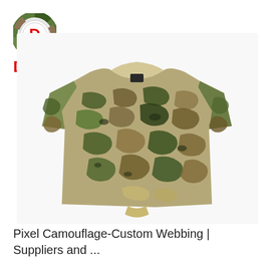[Figure (logo): DEEKON logo: circular camouflage-patterned ring with red letter D in center, above bold red text DEEKON]
[Figure (photo): Multicam / pixel camouflage pattern t-shirt laid flat on white background. Short sleeve crew neck shirt with tan collar and small black label. Camouflage pattern in greens, browns, tans with irregular shapes.]
Pixel Camouflage-Custom Webbing | Suppliers and ...